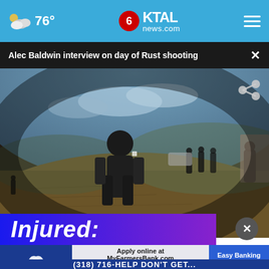76° KTAL news.com
Alec Baldwin interview on day of Rust shooting
[Figure (photo): Wide-angle/fisheye view of a film set outdoors on dry grassland hills. A person in dark clothing stands in the foreground looking down, while other individuals are visible in the background near vehicles and a building. Dramatic cloudy sky.]
Injured:
[Figure (advertisement): Farmers Bank & Trust advertisement. Apply online at MyFarmersBank.com. Convenient Checking, Documents, Cards. Easy Banking for Busy Living.]
(318) 716-HELP DON'T GET...